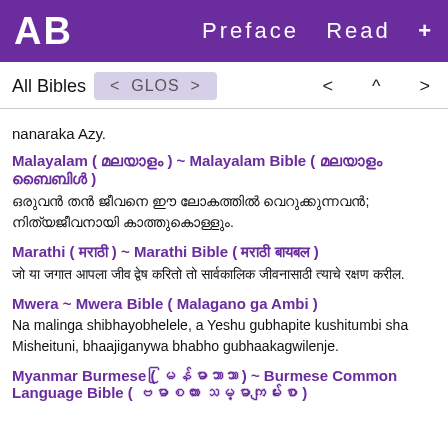AB  Preface  Read  +
All Bibles  < GLOS >  < ^ >
nanaraka Azy.
Malayalam ( മലയാളം ) ~ Malayalam Bible ( മലയാളം ബൈബിൾ )
ഒരുവൻ തന്‍ ജീവനെ ഈ ലോകത്തിൽ വെറുക്കുന്നവൻ; നിത്യജീവനായി കാത്തുകൊള്ളും.
Marathi ( मराठी ) ~ Marathi Bible ( मराठी बायबल )
जो या जगात आपला जीव द्वेष करितो तो सार्वकालिक जीवनासाठी त्याचे रक्षण करील.
Mwera ~ Mwera Bible ( Malagano ga Ambi )
Na malinga shibhayobhelele, a Yeshu gubhapite kushitumbi sha Misheituni, bhaajiganywa bhabho gubhaakagwilenje.
Myanmar Burmese ( မြန်မာဘာသာ ) ~ Burmese Common Language Bible ( ဗမာစကား သမ္မာကျမ်းစာ )